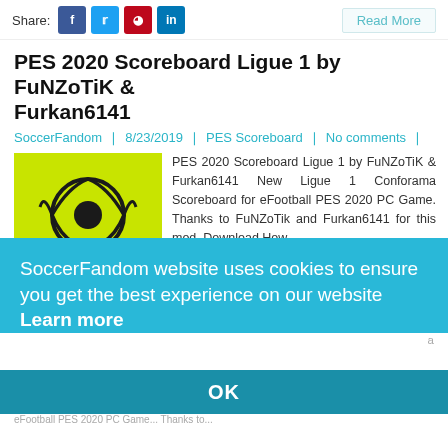Share: [social buttons] Read More
PES 2020 Scoreboard Ligue 1 by FuNZoTiK & Furkan6141
SoccerFandom | 8/23/2019 | PES Scoreboard | No comments |
[Figure (logo): Ligue 1 Conforama logo on yellow-green background with soccer ball icon]
PES 2020 Scoreboard Ligue 1 by FuNZoTiK & Furkan6141 New Ligue 1 Conforama Scoreboard for eFootball PES 2020 PC Game. Thanks to FuNZoTik and Furkan6141 for this mod. Download How...
Share: [social buttons] Read More
PES 2... Spurs...
SoccerF...
SoccerFandom website uses cookies to ensure you get the best experience on our website  Learn more
OK